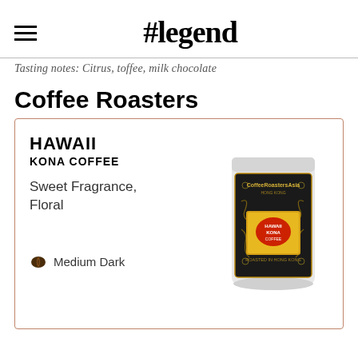#legend
Tasting notes: Citrus, toffee, milk chocolate
Coffee Roasters
[Figure (photo): Product card showing Hawaii Kona Coffee bag from CoffeeRoastersAsia with a black packaging featuring gold floral designs and a yellow label. Text on card: HAWAII KONA COFFEE, Sweet Fragrance, Floral, Medium Dark]
HAWAII
KONA COFFEE
Sweet Fragrance, Floral
Medium Dark